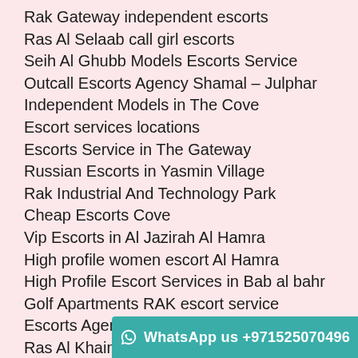Rak Gateway independent escorts
Ras Al Selaab call girl escorts
Seih Al Ghubb Models Escorts Service
Outcall Escorts Agency Shamal – Julphar
Independent Models in The Cove
Escort services locations
Escorts Service in The Gateway
Russian Escorts in Yasmin Village
Rak Industrial And Technology Park
Cheap Escorts Cove
Vip Escorts in Al Jazirah Al Hamra
High profile women escort Al Hamra
High Profile Escort Services in Bab al bahr
Golf Apartments RAK escort service
Escorts Agency In Julfar Residential
Ras Al Khaimah Creek Call Girl
Ras Al Khaimah Waterfront
Indian Social Escorts Al Qusaidat
Al Hamra Vi…
Marina Apa…
Bab al bahr Escorts Girls Royal R…
WhatsApp us +971525070496